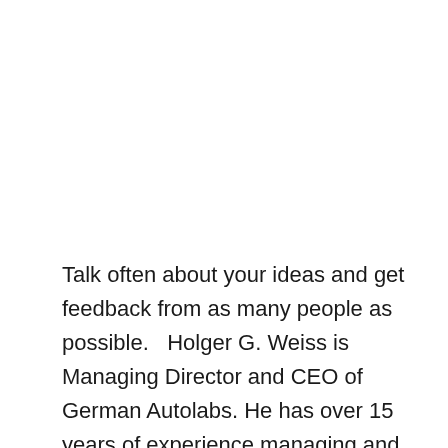Talk often about your ideas and get feedback from as many people as possible.   Holger G. Weiss is Managing Director and CEO of German Autolabs. He has over 15 years of experience managing and building technology-driven companies with innovative business models in the Future Mobility sector. He has extensive…